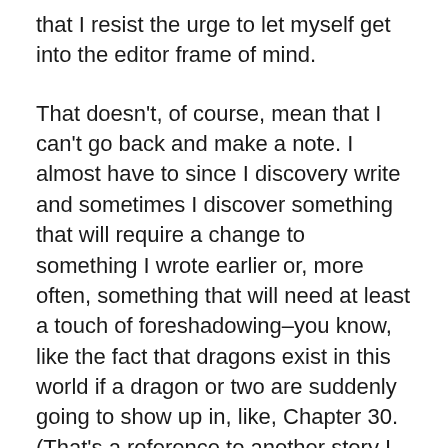that I resist the urge to let myself get into the editor frame of mind.
That doesn't, of course, mean that I can't go back and make a note. I almost have to since I discovery write and sometimes I discover something that will require a change to something I wrote earlier or, more often, something that will need at least a touch of foreshadowing–you know, like the fact that dragons exist in this world if a dragon or two are suddenly going to show up in, like, Chapter 30. (That's a reference to another story I need to circle back to sometime, MAGE STORM.)
I also belong to one writing group that reads a few chapters at a time every month or so. This works really well. It lets me know what aspects of the story are working and which need a bit more work. As per the rule above, I